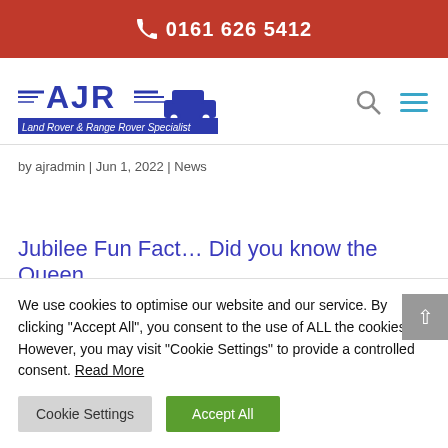📞 0161 626 5412
[Figure (logo): AJR Land Rover & Range Rover Specialist logo with vehicle silhouette and speed lines]
by ajradmin | Jun 1, 2022 | News
Jubilee Fun Fact... Did you know the Queen
We use cookies to optimise our website and our service. By clicking "Accept All", you consent to the use of ALL the cookies. However, you may visit "Cookie Settings" to provide a controlled consent. Read More
Cookie Settings | Accept All